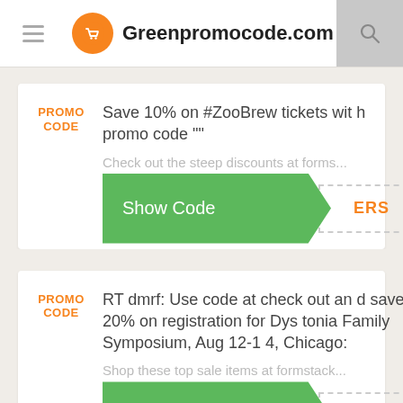Greenpromocode.com
PROMO CODE
Save 10% on #ZooBrew tickets with promo code ""
Check out the steep discounts at forms...
Show Code ERS
PROMO CODE
RT dmrf: Use code at check out and save 20% on registration for Dystonia Family Symposium, Aug 12-14, Chicago:
Shop these top sale items at formstack...
Show Code MILY